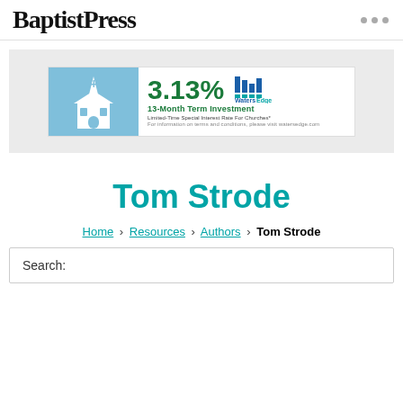BaptistPress
[Figure (infographic): Advertisement banner for WatersEdge showing 3.13% 13-Month Term Investment, Limited-Time Special Interest Rate For Churches, with a church illustration on blue background]
Tom Strode
Home › Resources › Authors › Tom Strode
Search: